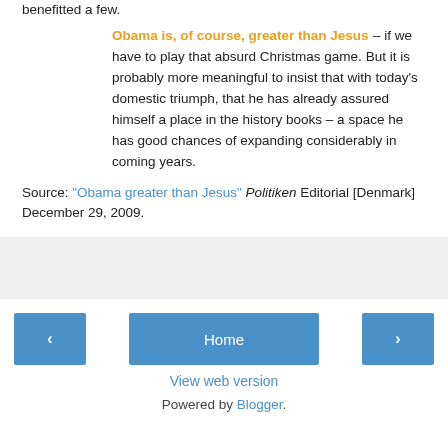benefitted a few.
Obama is, of course, greater than Jesus – if we have to play that absurd Christmas game. But it is probably more meaningful to insist that with today's domestic triumph, that he has already assured himself a place in the history books – a space he has good chances of expanding considerably in coming years.
Source: "Obama greater than Jesus" Politiken Editorial [Denmark] December 29, 2009.
[Figure (other): Gray advertisement or placeholder box]
< Home >
View web version
Powered by Blogger.